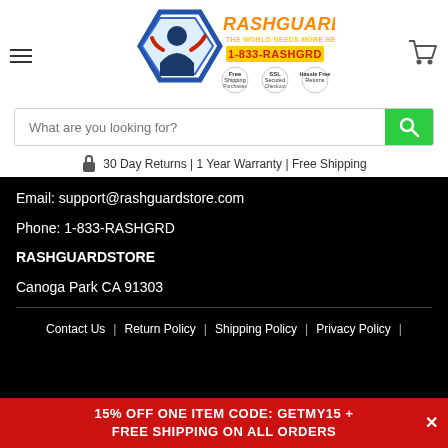[Figure (logo): RashGuardStore logo with hexagon mascot, store name in yellow/orange, tagline 'The World Needs More Heroes', phone 1-833-RASHGRD, free shipping/SSL/hassle-free return icons]
What are you looking for?
30 Day Returns | 1 Year Warranty | Free Shipping
Email: support@rashguardstore.com
Phone: 1-833-RASHGRD
RASHGUARDSTORE
Canoga Park CA 91303
Contact Us | Return Policy | Shipping Policy | Privacy Policy
15% OFF ONE ITEM CODE: GETMY15 + FREE SHIPPING ON ALL ORDERS